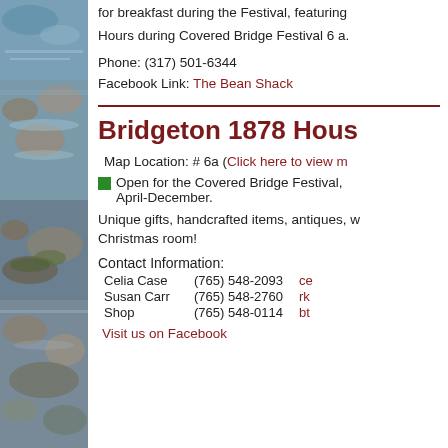[Figure (photo): Photo of rocky stream with water and stones, running vertically along the left side of the page]
for breakfast during the Festival, featuring
Hours during Covered Bridge Festival 6 a.
Phone: (317) 501-6344
Facebook Link: The Bean Shack
Bridgeton 1878 Hous
Map Location: # 6a (Click here to view m
Open for the Covered Bridge Festival, April-December.
Unique gifts, handcrafted items, antiques, w Christmas room!
Contact Information:
Celia Case    (765) 548-2093    ce
Susan Carr    (765) 548-2760    rk
Shop           (765) 548-0114    bt
Visit us on Facebook